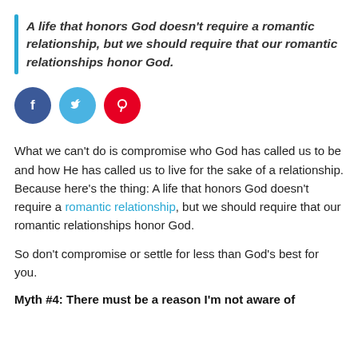A life that honors God doesn't require a romantic relationship, but we should require that our romantic relationships honor God.
[Figure (infographic): Three social media share icons: Facebook (blue circle with 'f'), Twitter (light blue circle with bird icon), Pinterest (red circle with 'p' pin icon)]
What we can't do is compromise who God has called us to be and how He has called us to live for the sake of a relationship. Because here's the thing: A life that honors God doesn't require a romantic relationship, but we should require that our romantic relationships honor God.
So don't compromise or settle for less than God's best for you.
Myth #4: There must be a reason I'm not aware of